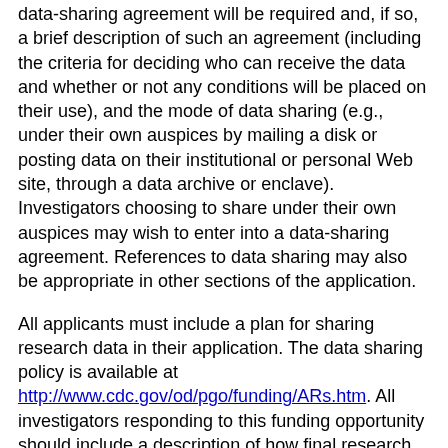data-sharing agreement will be required and, if so, a brief description of such an agreement (including the criteria for deciding who can receive the data and whether or not any conditions will be placed on their use), and the mode of data sharing (e.g., under their own auspices by mailing a disk or posting data on their institutional or personal Web site, through a data archive or enclave). Investigators choosing to share under their own auspices may wish to enter into a data-sharing agreement. References to data sharing may also be appropriate in other sections of the application.
All applicants must include a plan for sharing research data in their application. The data sharing policy is available at http://www.cdc.gov/od/pgo/funding/ARs.htm. All investigators responding to this funding opportunity should include a description of how final research data will be shared, or explain why data sharing is not possible.
The reasonableness of the data sharing plan or the rationale for not sharing research data will be assessed by the reviewers. However, reviewers will not factor the proposed data sharing plan into the determination of scientific merit or the priority score.
Sharing Research Resources